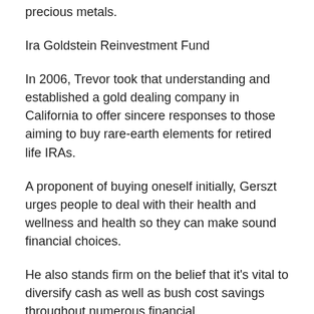precious metals.
Ira Goldstein Reinvestment Fund
In 2006, Trevor took that understanding and established a gold dealing company in California to offer sincere responses to those aiming to buy rare-earth elements for retired life IRAs.
A proponent of buying oneself initially, Gerszt urges people to deal with their health and wellness and health so they can make sound financial choices.
He also stands firm on the belief that it's vital to diversify cash as well as bush cost savings throughout numerous financial